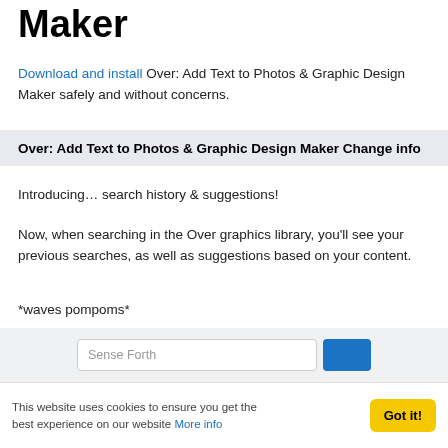Maker
Download and install Over: Add Text to Photos & Graphic Design Maker safely and without concerns.
Over: Add Text to Photos & Graphic Design Maker Change info
Introducing… search history & suggestions!
Now, when searching in the Over graphics library, you'll see your previous searches, as well as suggestions based on your content.
*waves pompoms*
We've also fixed some bugs, mostly to do with the crop tool and undo function. Huzzah!
Sense Forth
This website uses cookies to ensure you get the best experience on our website More info
Got it!